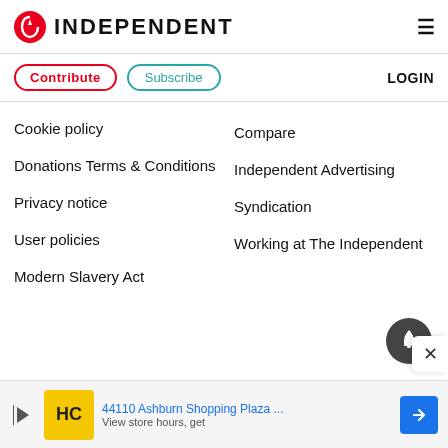INDEPENDENT
Contribute
Subscribe
LOGIN
Cookie policy
Donations Terms & Conditions
Privacy notice
User policies
Modern Slavery Act
Compare
Independent Advertising
Syndication
Working at The Independent
44110 Ashburn Shopping Plaza ... View store hours, get